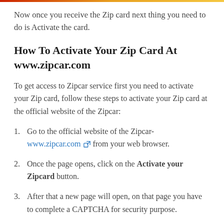Now once you receive the Zip card next thing you need to do is Activate the card.
How To Activate Your Zip Card At www.zipcar.com
To get access to Zipcar service first you need to activate your Zip card, follow these steps to activate your Zip card at the official website of the Zipcar:
Go to the official website of the Zipcar- www.zipcar.com from your web browser.
Once the page opens, click on the Activate your Zipcard button.
After that a new page will open, on that page you have to complete a CAPTCHA for security purpose.
On the page click on the I am Human checkbox and then